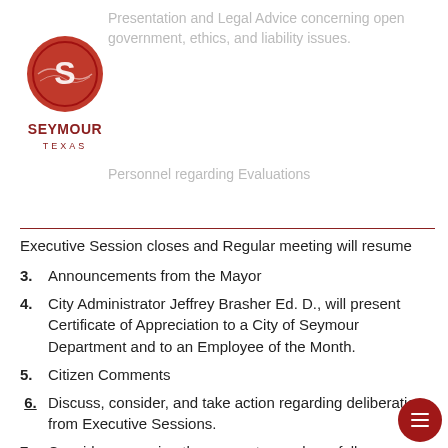[Figure (logo): Seymour Texas city logo - red circular emblem with S and SEYMOUR TEXAS text below]
Presentation and Legal Advice concerning open government, ethics, and liability issues.
Personnel regarding Evaluations
Executive Session closes and Regular meeting will resume
3.  Announcements from the Mayor
4.  City Administrator Jeffrey Brasher Ed. D., will present Certificate of Appreciation to a City of Seymour Department and to an Employee of the Month.
5.  Citizen Comments
6.  Discuss, consider, and take action regarding deliberations from Executive Sessions.
7.  Consider approving the consent agenda as follows: